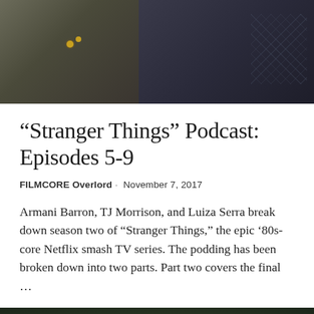[Figure (photo): Dark still from Stranger Things showing people in coats, left figure wearing jacket with badges, right figure in quilted jacket]
“Stranger Things” Podcast: Episodes 5-9
FILMCORE Overlord · November 7, 2017
Armani Barron, TJ Morrison, and Luiza Serra break down season two of “Stranger Things,” the epic ‘80s-core Netflix smash TV series. The podding has been broken down into two parts. Part two covers the final …
[Figure (photo): Dark outdoor scene from Stranger Things showing children in a forest or outdoor setting]